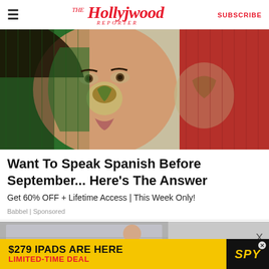The Hollywood Reporter | SUBSCRIBE
[Figure (photo): Woman's face painted with Mexican flag colors and coat of arms, displayed against a Mexican flag backdrop]
Want To Speak Spanish Before September... Here’s The Answer
Get 60% OFF + Lifetime Access | This Week Only!
Babbel | Sponsored
[Figure (photo): Partial ad image with close button X]
[Figure (infographic): $279 IPADS ARE HERE LIMITED-TIME DEAL - SPY advertisement banner in yellow and black]